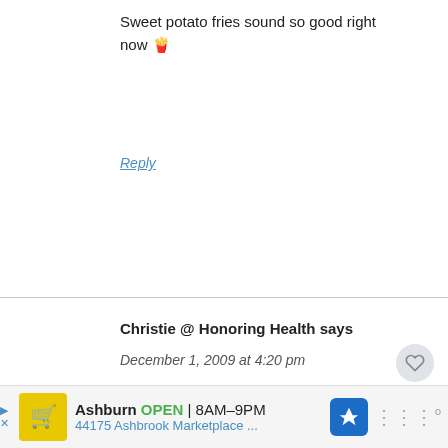Sweet potato fries sound so good right now 🍟
Reply
Christie @ Honoring Health says
December 1, 2009 at 4:20 pm
I stopped taking fish oil for the same reason. Maybe it was in my head but I felt like I could smell it all the time!
Ashburn  OPEN  8AM–9PM  44175 Ashbrook Marketplace ...